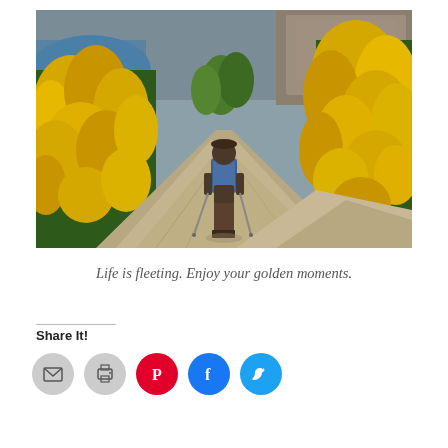[Figure (photo): A hiker with a backpack and trekking poles walks along a rocky trail surrounded by golden-yellow autumn aspen trees, with rocky cliffs and a glimpse of water in the background.]
Life is fleeting. Enjoy your golden moments.
Share It!